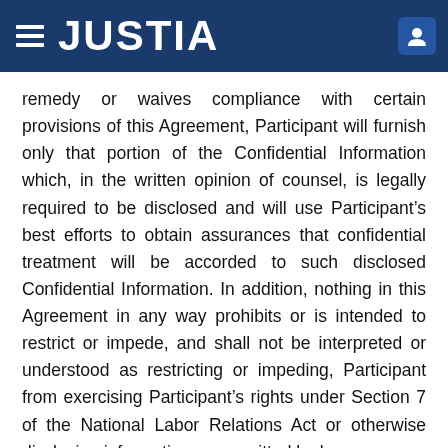JUSTIA
remedy or waives compliance with certain provisions of this Agreement, Participant will furnish only that portion of the Confidential Information which, in the written opinion of counsel, is legally required to be disclosed and will use Participant’s best efforts to obtain assurances that confidential treatment will be accorded to such disclosed Confidential Information. In addition, nothing in this Agreement in any way prohibits or is intended to restrict or impede, and shall not be interpreted or understood as restricting or impeding, Participant from exercising Participant’s rights under Section 7 of the National Labor Relations Act or otherwise disclosing information as permitted by law.
(xiv)Return of Property. Participant agrees that